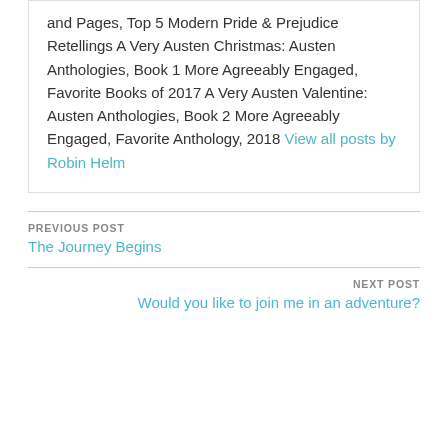and Pages, Top 5 Modern Pride & Prejudice Retellings A Very Austen Christmas: Austen Anthologies, Book 1 More Agreeably Engaged, Favorite Books of 2017 A Very Austen Valentine: Austen Anthologies, Book 2 More Agreeably Engaged, Favorite Anthology, 2018 View all posts by Robin Helm
PREVIOUS POST
The Journey Begins
NEXT POST
Would you like to join me in an adventure?